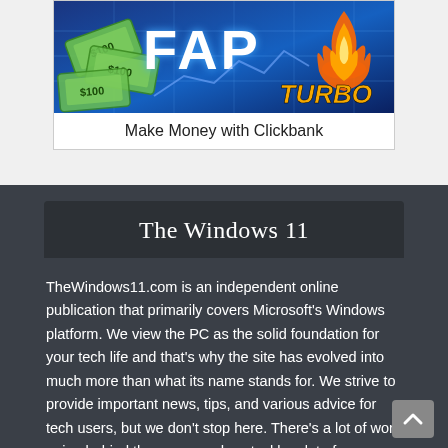[Figure (illustration): FAP Turbo advertisement banner showing flying dollar bills on a blue finance chart background, with large white 'FAP' text and orange italic 'TURBO' text, with flame graphic on the right]
Make Money with Clickbank
The Windows 11
TheWindows11.com is an independent online publication that primarily covers Microsoft's Windows platform. We view the PC as the solid foundation for your tech life and that's why the site has evolved into much more than what its name stands for. We strive to provide important news, tips, and various advice for tech users, but we don't stop here. There's a lot of work going behind the scene and we tackle a lot of new